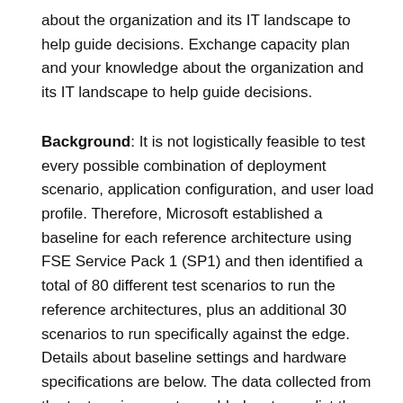about the organization and its IT landscape to help guide decisions. Exchange capacity plan and your knowledge about the organization and its IT landscape to help guide decisions.
Background: It is not logistically feasible to test every possible combination of deployment scenario, application configuration, and user load profile. Therefore, Microsoft established a baseline for each reference architecture using FSE Service Pack 1 (SP1) and then identified a total of 80 different test scenarios to run the reference architectures, plus an additional 30 scenarios to run specifically against the edge. Details about baseline settings and hardware specifications are below. The data collected from the test environments enabled us to predict the additional computing resources consumed based on the various settings, message rates, and so forth.